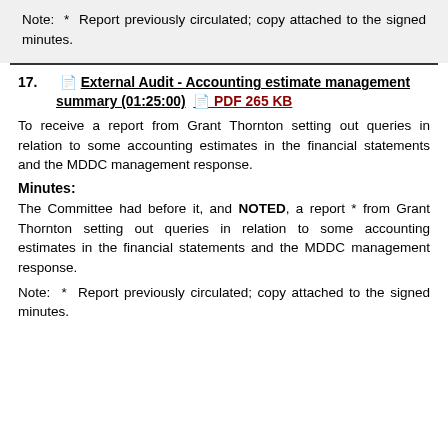Note: * Report previously circulated; copy attached to the signed minutes.
17.  External Audit - Accounting estimate management summary (01:25:00)  PDF 265 KB
To receive a report from Grant Thornton setting out queries in relation to some accounting estimates in the financial statements and the MDDC management response.
Minutes:
The Committee had before it, and NOTED, a report * from Grant Thornton setting out queries in relation to some accounting estimates in the financial statements and the MDDC management response.
Note: * Report previously circulated; copy attached to the signed minutes.